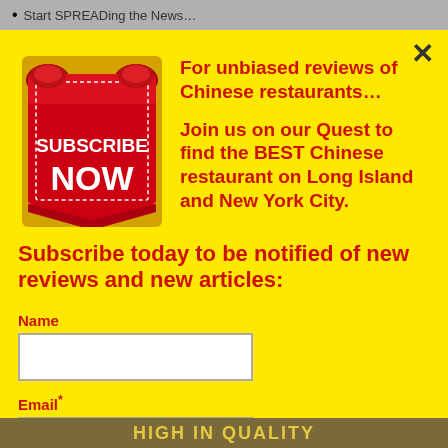Start SPREADing the News…
[Figure (illustration): Red ribbon/banner Subscribe NOW badge with white dashed border and white bold text SUBSCRIBE NOW]
For unbiased reviews of Chinese restaurants…

Join us on our Quest to find the BEST Chinese restaurant on Long Island and New York City.
Subscribe today to be notified of new reviews and new articles:
Name
Email*
Subscribe